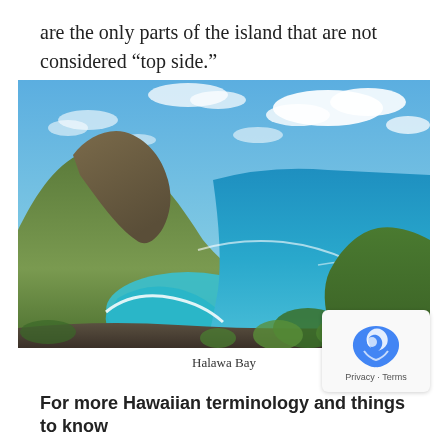are the only parts of the island that are not considered “top side.”
[Figure (photo): Aerial view of Halawa Bay, Molokai, Hawaii, showing a curved bay with turquoise water, white foam along the shoreline, green cliffs, and blue sky with clouds.]
Halawa Bay
For more Hawaiian terminology and things to know